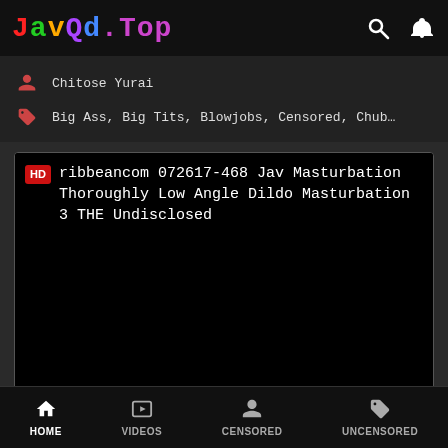JavQd.Top
Chitose Yurai
Big Ass, Big Tits, Blowjobs, Censored, Chub…
[Figure (screenshot): Video thumbnail card with HD badge showing title: ribbeancom 072617-468 Jav Masturbation Thoroughly Low Angle Dildo Masturbation 3 THE Undisclosed, black background thumbnail area]
Caribbeancom 072617-468 Jav Masturbation Thorou…
HOME  VIDEOS  CENSORED  UNCENSORED